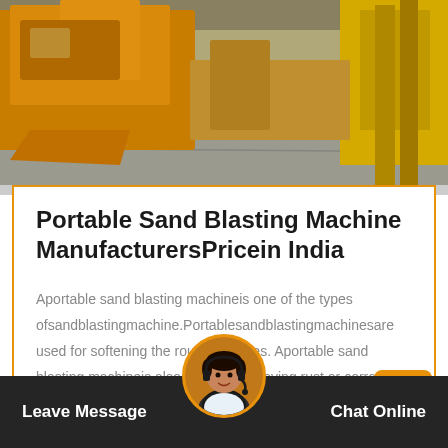[Figure (photo): Industrial machinery/warehouse scene with orange and yellow heavy equipment machines on a concrete floor]
Portable Sand Blasting Machine ManufacturersPricein India
Aportable sand blasting machineis one of the types ofsandblastingmachine.Portablesandblastingmachinesare used for softening the rough surfaces. Aportable sand blasting machineis also used for removing rust or corrosion from met….
Get Price
Leave Message   Chat Online